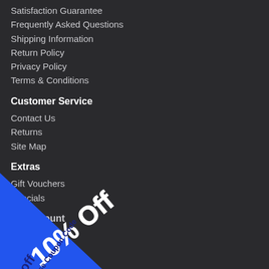Satisfaction Guarantee
Frequently Asked Questions
Shipping Information
Return Policy
Privacy Policy
Terms & Conditions
Customer Service
Contact Us
Returns
Site Map
Extras
Gift Vouchers
Specials
My Account
My Account
[Figure (infographic): Blue diagonal banner in bottom-left corner with '10% Off' in large white bold text and 'Use Coupon Code 10off' in dark blue text below]